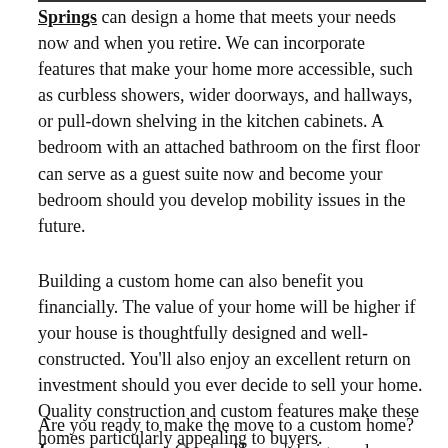Springs can design a home that meets your needs now and when you retire. We can incorporate features that make your home more accessible, such as curbless showers, wider doorways, and hallways, or pull-down shelving in the kitchen cabinets. A bedroom with an attached bathroom on the first floor can serve as a guest suite now and become your bedroom should you develop mobility issues in the future.
Building a custom home can also benefit you financially. The value of your home will be higher if your house is thoughtfully designed and well-constructed. You'll also enjoy an excellent return on investment should you ever decide to sell your home. Quality construction and custom features make these homes particularly appealing to buyers.
Are you ready to make the move to a custom home? Learn more about Gowler Homes' design and